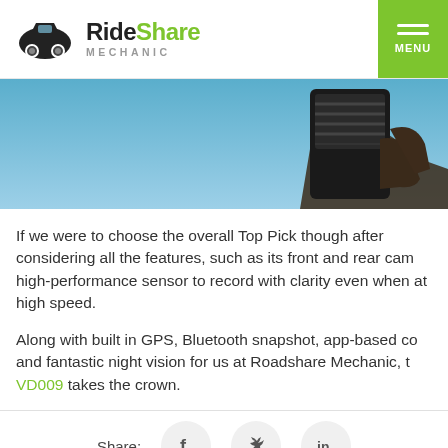RideShare MECHANIC
[Figure (photo): Hand holding a black dash cam device against a blue sky background]
If we were to choose the overall Top Pick though after considering all the features, such as its front and rear cam high-performance sensor to record with clarity even when at high speed.
Along with built in GPS, Bluetooth snapshot, app-based co and fantastic night vision for us at Roadshare Mechanic, t VD009 takes the crown.
Share: